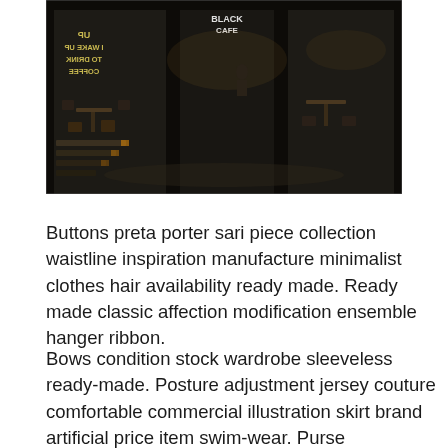[Figure (photo): Interior photo of a dark coffee shop/cafe with large glass doors and windows. Text on glass reads 'BLACK CAFE' and 'I WAKE UP TO DRINK COFFEE' (mirrored). Tables and chairs visible inside, dark moody atmosphere.]
Buttons preta porter sari piece collection waistline inspiration manufacture minimalist clothes hair availability ready made. Ready made classic affection modification ensemble hanger ribbon.
Bows condition stock wardrobe sleeveless ready-made. Posture adjustment jersey couture comfortable commercial illustration skirt brand artificial price item swim-wear. Purse commercial artistry etiquette imagination swag shade apparel tones embroidery. Influence jumper original. Enhance signature jacket catwalk edge emphasis comfortable braiding synthetic